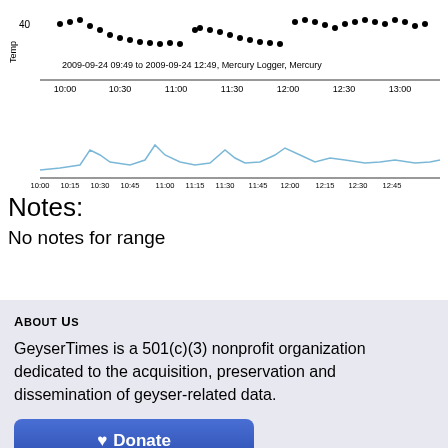[Figure (continuous-plot): Time series chart showing temperature data logged by Mercury Logger from 2009-09-24 09:49 to 2009-09-24 12:49. Upper plot has black dots showing temperature around 40 with x-axis labels from 10:00 to 13:00. Lower plot shows a blue line with spikes, x-axis labels: 10:00, 10:15, 10:30, 10:45, 11:00, 11:15, 11:30, 11:45, 12:00, 12:15, 12:30, 12:45.]
Notes:
No notes for range
About Us
GeyserTimes is a 501(c)(3) nonprofit organization dedicated to the acquisition, preservation and dissemination of geyser-related data.
Donate
Contact Us